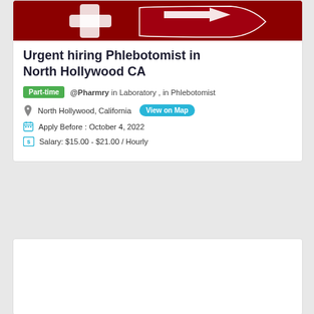[Figure (logo): Dark red/maroon pharmacy or medical logo with a stylized hand and medical cross symbol on a dark red background]
Urgent hiring Phlebotomist in North Hollywood CA
Part-time  @Pharmry in Laboratory , in Phlebotomist
North Hollywood, California  View on Map
Apply Before : October 4, 2022
Salary: $15.00 - $21.00 / Hourly